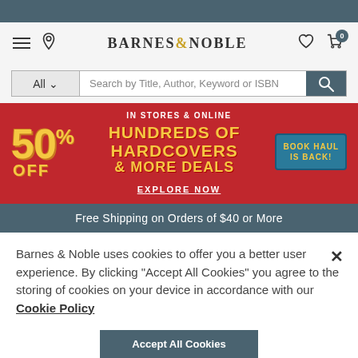Barnes & Noble navigation header with hamburger menu, location pin, logo, wishlist and cart icons
All ∨   Search by Title, Author, Keyword or ISBN
[Figure (infographic): Barnes & Noble promotional banner: IN STORES & ONLINE, 50% OFF HUNDREDS OF HARDCOVERS & MORE DEALS, EXPLORE NOW, BOOK HAUL IS BACK! badge]
Free Shipping on Orders of $40 or More
Barnes & Noble uses cookies to offer you a better user experience. By clicking "Accept All Cookies" you agree to the storing of cookies on your device in accordance with our Cookie Policy